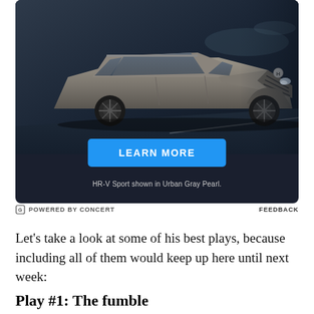[Figure (photo): Honda HR-V Sport SUV in Urban Gray Pearl color shown on a dark road background with a blue 'LEARN MORE' button and caption text below]
HR-V Sport shown in Urban Gray Pearl.
POWERED BY CONCERT
FEEDBACK
Let's take a look at some of his best plays, because including all of them would keep up here until next week:
Play #1: The fumble